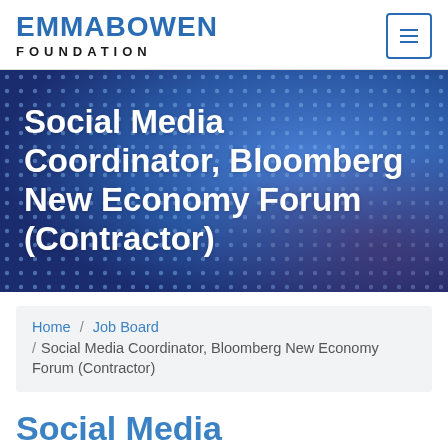EMMA BOWEN FOUNDATION
Social Media Coordinator, Bloomberg New Economy Forum (Contractor)
Home / Job Board / Social Media Coordinator, Bloomberg New Economy Forum (Contractor)
Social Media